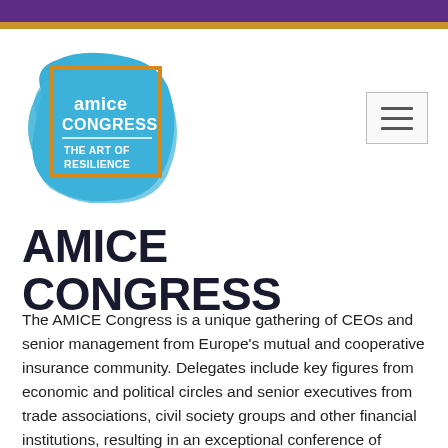[Figure (logo): AMICE Congress logo — blue brush-stroke background with orange square border and white text reading 'amice CONGRESS THE ART OF RESILIENCE']
AMICE CONGRESS
The AMICE Congress is a unique gathering of CEOs and senior management from Europe's mutual and cooperative insurance community. Delegates include key figures from economic and political circles and senior executives from trade associations, civil society groups and other financial institutions, resulting in an exceptional conference of industry leaders and influencers.